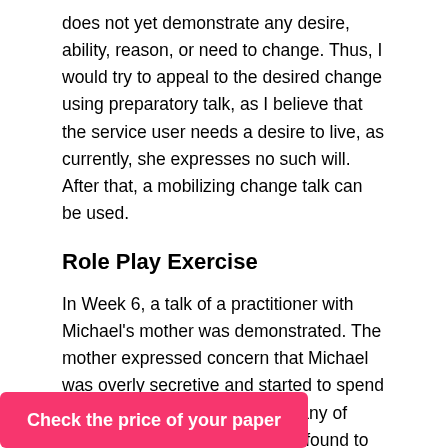does not yet demonstrate any desire, ability, reason, or need to change. Thus, I would try to appeal to the desired change using preparatory talk, as I believe that the service user needs a desire to live, as currently, she expresses no such will. After that, a mobilizing change talk can be used.
Role Play Exercise
In Week 6, a talk of a practitioner with Michael's mother was demonstrated. The mother expressed concern that Michael was overly secretive and started to spend time with an unfavorable company of people. Moreover, the boy was found to be smoking marijuana, which serves as the central reason for his mother to contact human service providers. As an advanced human service practitioner, I would suggest using three general talk. First, I start
Check the price of your paper